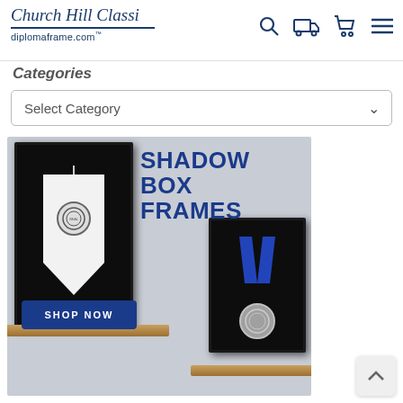[Figure (logo): Church Hill Classics cursive logo with diplomaframe.com URL below]
[Figure (infographic): Navigation icons: search magnifier, delivery truck, shopping cart, hamburger menu]
Categories
[Figure (screenshot): Select Category dropdown selector]
[Figure (photo): Shadow Box Frames promotional banner showing two shadow box frames on wooden shelves — one containing a pennant/banner with seal, one containing a medal with blue V-ribbon — with SHOP NOW button. Text: SHADOW BOX FRAMES]
[Figure (other): Back to top button with upward chevron arrow]